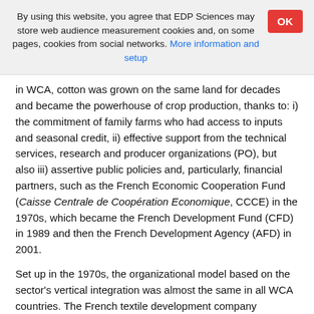By using this website, you agree that EDP Sciences may store web audience measurement cookies and, on some pages, cookies from social networks. More information and setup
in WCA, cotton was grown on the same land for decades and became the powerhouse of crop production, thanks to: i) the commitment of family farms who had access to inputs and seasonal credit, ii) effective support from the technical services, research and producer organizations (PO), but also iii) assertive public policies and, particularly, financial partners, such as the French Economic Cooperation Fund (Caisse Centrale de Coopération Economique, CCCE) in the 1970s, which became the French Development Fund (CFD) in 1989 and then the French Development Agency (AFD) in 2001.
Set up in the 1970s, the organizational model based on the sector's vertical integration was almost the same in all WCA countries. The French textile development company (Compagnie Francaise de Développement des Textiles, CFDT)